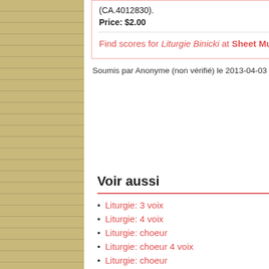(CA.4012830).
Price: $2.00
Find scores for Liturgie Binicki at Sheet Music Plus.
Soumis par Anonyme (non vérifié) le 2013-04-03 20:52.
Voir aussi
Liturgie: 3 voix
Liturgie: 4 voix
Liturgie: choeur
Liturgie: choeur 4 voix
Liturgie: choeur